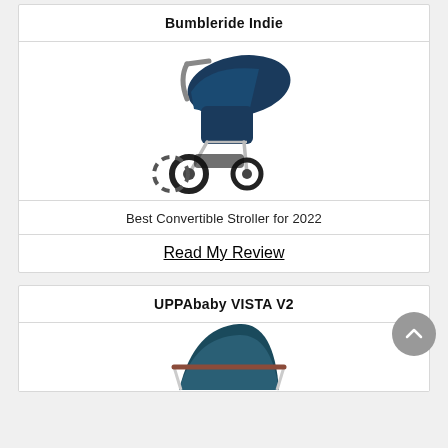Bumbleride Indie
[Figure (photo): Photo of the Bumbleride Indie stroller, a navy blue three-wheeled jogging stroller with silver frame on white background]
Best Convertible Stroller for 2022
Read My Review
UPPAbaby VISTA V2
[Figure (photo): Partial photo of the UPPAbaby VISTA V2 stroller, teal/dark blue color, partially visible at bottom of page]